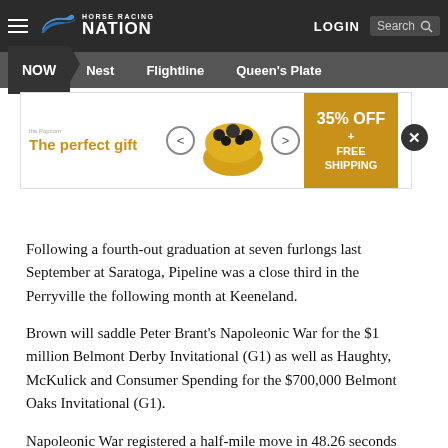Horse Racing Nation — NOW | Nest | Flightline | Queen's Plate
[Figure (other): Advertisement banner: 'The perfect gift' with product carousel and '35% OFF + FREE SHIPPING' offer]
Following a fourth-out graduation at seven furlongs last September at Saratoga, Pipeline was a close third in the Perryville the following month at Keeneland.
Brown will saddle Peter Brant's Napoleonic War for the $1 million Belmont Derby Invitational (G1) as well as Haughty, McKulick and Consumer Spending for the $700,000 Belmont Oaks Invitational (G1).
Napoleonic War registered a half-mile move in 48.26 seconds